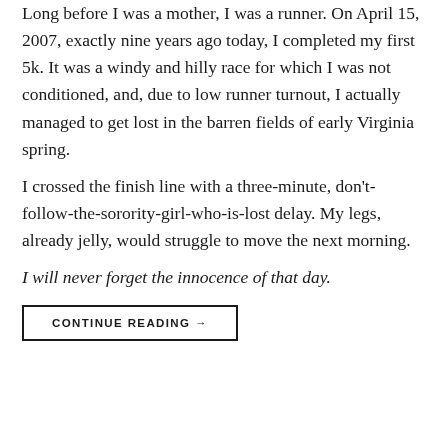Long before I was a mother, I was a runner. On April 15, 2007, exactly nine years ago today, I completed my first 5k. It was a windy and hilly race for which I was not conditioned, and, due to low runner turnout, I actually managed to get lost in the barren fields of early Virginia spring.
I crossed the finish line with a three-minute, don't-follow-the-sorority-girl-who-is-lost delay. My legs, already jelly, would struggle to move the next morning.
I will never forget the innocence of that day.
CONTINUE READING →